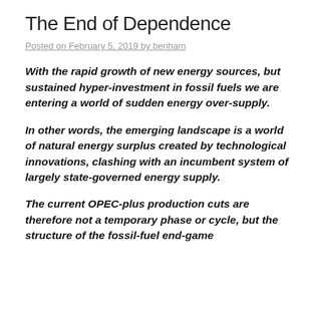The End of Dependence
Posted on February 5, 2019 by benham
With the rapid growth of new energy sources, but sustained hyper-investment in fossil fuels we are entering a world of sudden energy over-supply.
In other words, the emerging landscape is a world of natural energy surplus created by technological innovations, clashing with an incumbent system of largely state-governed energy supply.
The current OPEC-plus production cuts are therefore not a temporary phase or cycle, but the structure of the fossil-fuel end-game